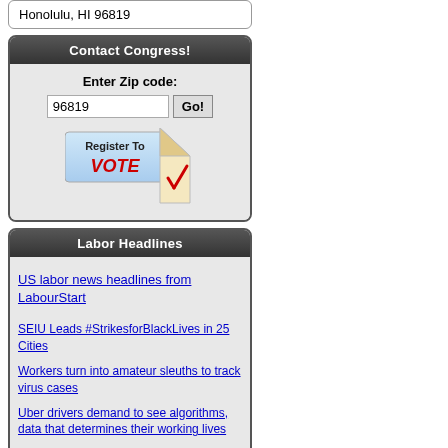Honolulu, HI 96819
Contact Congress!
Enter Zip code: 96819 Go!
[Figure (other): Register To VOTE button with ballot icon]
Labor Headlines
US labor news headlines from LabourStart
SEIU Leads #StrikesforBlackLives in 25 Cities
Workers turn into amateur sleuths to track virus cases
Uber drivers demand to see algorithms, data that determines their working lives
32BJ union members rally for HEROES Act outside Trump Tower
HEROES Act 0% Part Five in an